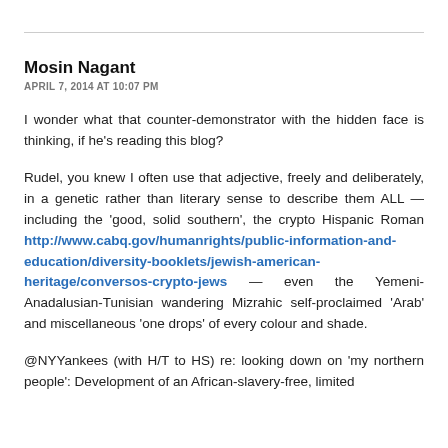Mosin Nagant
APRIL 7, 2014 AT 10:07 PM
I wonder what that counter-demonstrator with the hidden face is thinking, if he's reading this blog?
Rudel, you knew I often use that adjective, freely and deliberately, in a genetic rather than literary sense to describe them ALL — including the 'good, solid southern', the crypto Hispanic Roman http://www.cabq.gov/humanrights/public-information-and-education/diversity-booklets/jewish-american-heritage/conversos-crypto-jews — even the Yemeni-Anadalusian-Tunisian wandering Mizrahic self-proclaimed 'Arab' and miscellaneous 'one drops' of every colour and shade.
@NYYankees (with H/T to HS) re: looking down on 'my northern people': Development of an African-slavery-free, limited